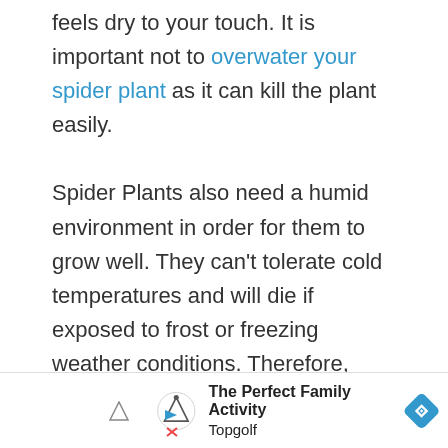feels dry to your touch. It is important not to overwater your spider plant as it can kill the plant easily.

Spider Plants also need a humid environment in order for them to grow well. They can't tolerate cold temperatures and will die if exposed to frost or freezing weather conditions. Therefore, keep this plant indoors during winter months or on an enclosed porch where they are protected from the
[Figure (other): Advertisement banner for Topgolf reading 'The Perfect Family Activity' with Topgolf logo and a blue diamond navigation icon]